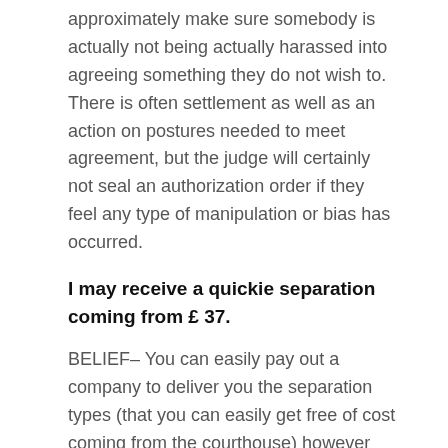approximately make sure somebody is actually not being actually harassed into agreeing something they do not wish to. There is often settlement as well as an action on postures needed to meet agreement, but the judge will certainly not seal an authorization order if they feel any type of manipulation or bias has occurred.
I may receive a quickie separation coming from £ 37.
BELIEF– You can easily pay out a company to deliver you the separation types (that you can easily get free of cost coming from the courthouse) however courthouse expenses for a full breakup and also approval order are actually £ 600. Some individuals on reduced revenue may be actually excused from judge